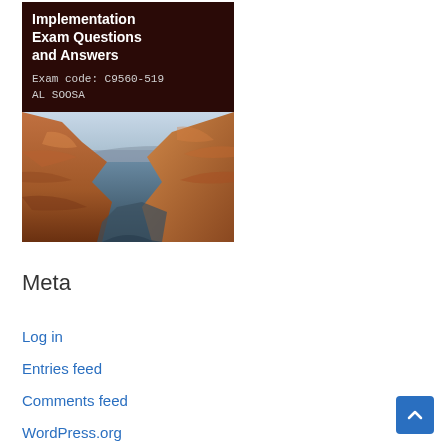[Figure (illustration): Book cover with dark brown top section showing title 'Implementation Exam Questions and Answers, Exam code: C9560-519, AL SOOSA' and bottom section showing a canyon landscape photo]
Meta
Log in
Entries feed
Comments feed
WordPress.org